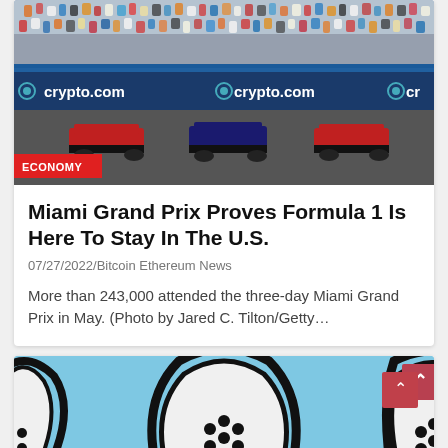[Figure (photo): Formula 1 racing cars on track at Miami Grand Prix with crowd in stands and crypto.com advertising boards visible. A red ECONOMY badge is overlaid at bottom left of the image.]
Miami Grand Prix Proves Formula 1 Is Here To Stay In The U.S.
07/27/2022/Bitcoin Ethereum News
More than 243,000 attended the three-day Miami Grand Prix in May. (Photo by Jared C. Tilton/Getty…
[Figure (illustration): Cardano ADA cryptocurrency logo illustration — stylized teardrop/ADA symbols in black outline on a light blue background, arranged in a row.]